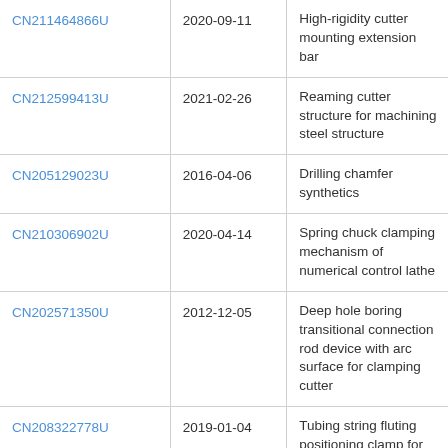| CN211464866U | 2020-09-11 | High-rigidity cutter mounting extension bar |
| CN212599413U | 2021-02-26 | Reaming cutter structure for machining steel structure |
| CN205129023U | 2016-04-06 | Drilling chamfer synthetics |
| CN210306902U | 2020-04-14 | Spring chuck clamping mechanism of numerical control lathe |
| CN202571350U | 2012-12-05 | Deep hole boring transitional connection rod device with arc surface for clamping cutter |
| CN208322778U | 2019-01-04 | Tubing string fluting positioning clamp for machining |
| CN210789375U | 2020-06-19 | Novel drilling reamer for machining automobile castings |
| CN212704575U | 2021-03-16 | High-speed deep hole drill bit |